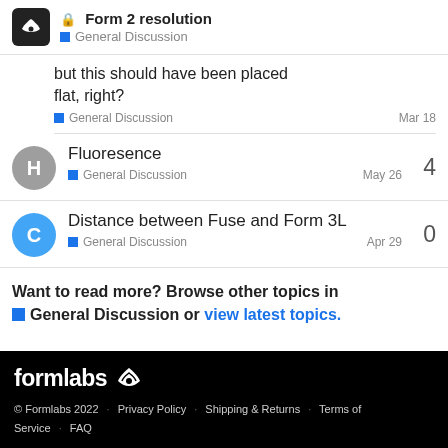Form 2 resolution - General Discussion
but this should have been placed flat, right?
General Discussion   Mar 18
Fluoresence - General Discussion - May 26 - 4
Distance between Fuse and Form 3L - General Discussion - Apr 29 - 0
Want to read more? Browse other topics in General Discussion or view latest topics.
formlabs © Formlabs 2022 · Privacy Policy · Shipping & Returns · Terms of Service · FAQ